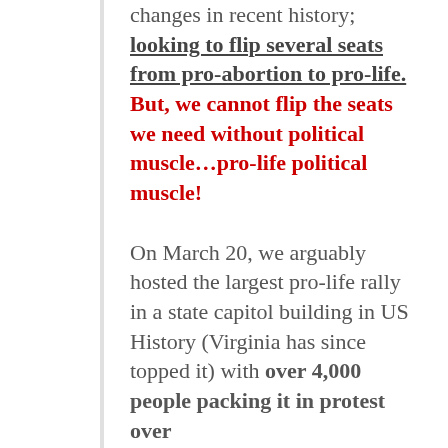changes in recent history; looking to flip several seats from pro-abortion to pro-life. But, we cannot flip the seats we need without political muscle…pro-life political muscle! On March 20, we arguably hosted the largest pro-life rally in a state capitol building in US History (Virginia has since topped it) with over 4,000 people packing it in protest over